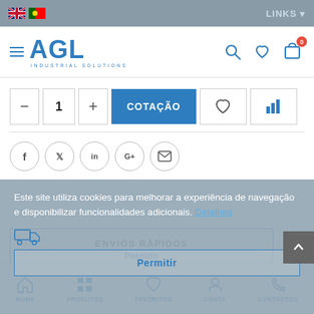LINKS
[Figure (logo): AGL Industrial Solutions logo with hamburger menu icon]
[Figure (infographic): Product quantity controls: minus, 1, plus; COTAÇÃO button; heart icon; bar chart icon]
[Figure (infographic): Social share icons: Facebook, Twitter, LinkedIn, Google+, Email]
Este site utiliza cookies para melhorar a experiência de navegação e disponibilizar funcionalidades adicionais. Detalhes
ENVIOS RÁPIDOS
Permitir
HOME  PRODUTOS  FAVORITOS  CONTA  CONTACTOS